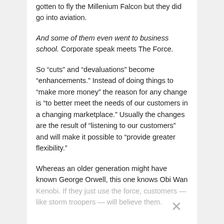gotten to fly the Millenium Falcon but they did go into aviation.
And some of them even went to business school. Corporate speak meets The Force.
So “cuts” and “devaluations” become “enhancements.” Instead of doing things to “make more money” the reason for any change is “to better meet the needs of our customers in a changing marketplace.” Usually the changes are the result of “listening to our customers” and will make it possible to “provide greater flexibility.”
Whereas an older generation might have known George Orwell, this one knows Obi Wan Kenobi. If they just use the force, customers — like storm troopers — will believe them.